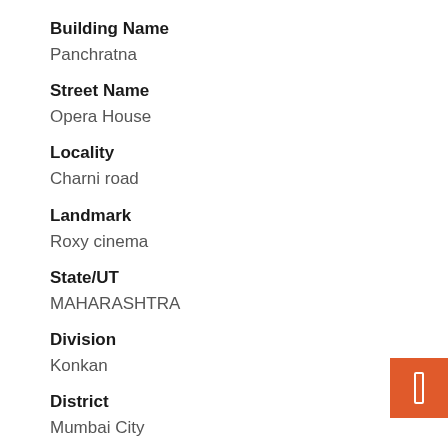Building Name
Panchratna
Street Name
Opera House
Locality
Charni road
Landmark
Roxy cinema
State/UT
MAHARASHTRA
Division
Konkan
District
Mumbai City
Taluka
Mumbai City
Village